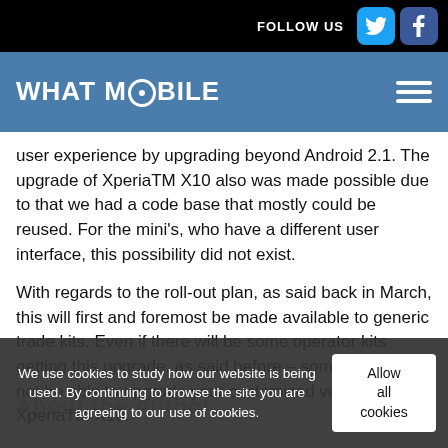FOLLOW US
WHAT MOBILE
user experience by upgrading beyond Android 2.1. The upgrade of XperiaTM X10 also was made possible due to that we had a code base that mostly could be reused. For the mini's, who have a different user interface, this possibility did not exist.
With regards to the roll-out plan, as said back in March, this will first and foremost be made available to generic trade kits. Even if there will be some operator kits getting this upgrade, as said before – some of you will not be able to upgrade your customized version of XperiaTM X10.
We use cookies to study how our website is being used. By continuing to browse the site you are agreeing to our use of cookies.